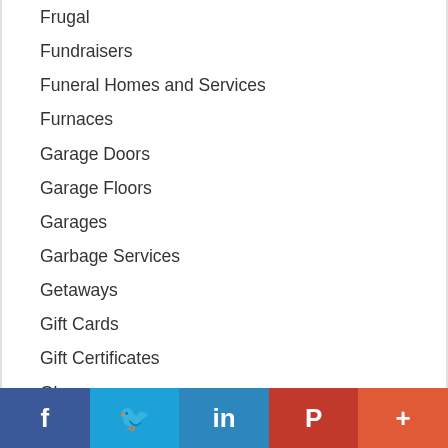Frugal
Fundraisers
Funeral Homes and Services
Furnaces
Garage Doors
Garage Floors
Garages
Garbage Services
Getaways
Gift Cards
Gift Certificates
Glass
Glasses and Contact Lenses
Golf Related
f  t  in  P  +